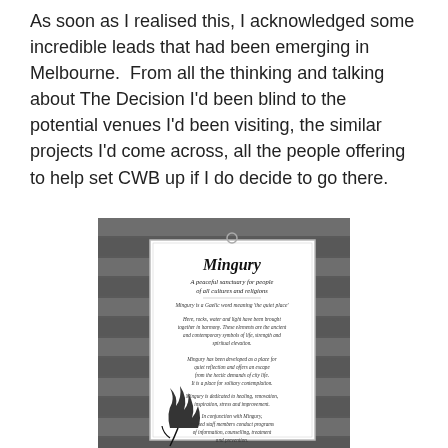As soon as I realised this, I acknowledged some incredible leads that had been emerging in Melbourne.  From all the thinking and talking about The Decision I'd been blind to the potential venues I'd been visiting, the similar projects I'd come across, all the people offering to help set CWB up if I do decide to go there.
[Figure (photo): A photo of a white sign reading 'Mingury – A peaceful sanctuary for people of all cultures and religions', with decorative text and a stylized flame/plant logo, hanging on a slatted bench or railing background.]